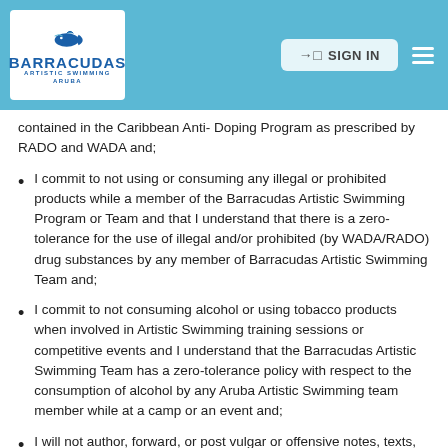BARRACUDAS ARTISTIC SWIMMING ARUBA | SIGN IN
contained in the Caribbean Anti- Doping Program as prescribed by RADO and WADA and;
I commit to not using or consuming any illegal or prohibited products while a member of the Barracudas Artistic Swimming Program or Team and that I understand that there is a zero-tolerance for the use of illegal and/or prohibited (by WADA/RADO) drug substances by any member of Barracudas Artistic Swimming Team and;
I commit to not consuming alcohol or using tobacco products when involved in Artistic Swimming training sessions or competitive events and I understand that the Barracudas Artistic Swimming Team has a zero-tolerance policy with respect to the consumption of alcohol by any Aruba Artistic Swimming team member while at a camp or an event and;
I will not author, forward, or post vulgar or offensive notes, texts, photographs, or other content that reflect negatively on me, my team, other individuals, or the Club, or that conflict with the spirit or intent of this Code. Whenever possible, I will discourage others from posting text or photos...